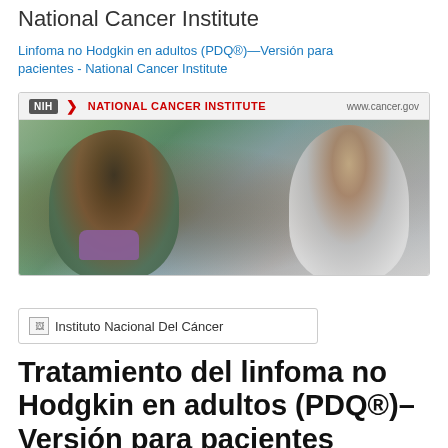National Cancer Institute
Linfoma no Hodgkin en adultos (PDQ®)—Versión para pacientes - National Cancer Institute
[Figure (photo): NIH National Cancer Institute banner with logo and photo of two researchers/medical professionals working in a laboratory. URL shown: www.cancer.gov]
[Figure (photo): Broken image placeholder labeled 'Instituto Nacional Del Cáncer']
Tratamiento del linfoma no Hodgkin en adultos (PDQ®)–Versión para pacientes